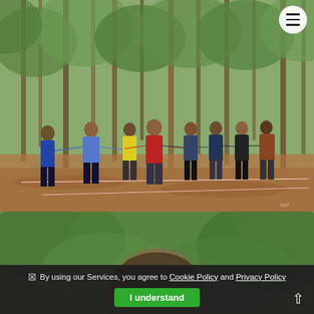[Figure (photo): Group of teenagers standing in a forest clearing, stretching arms out to sides, connected in a line. Red and white safety tape on the ground. Forest trees in background. One person wearing a yellow hi-vis vest.]
[Figure (photo): Close-up of a child's head from behind, surrounded by blurred green forest foliage.]
By using our Services, you agree to Cookie Policy and Privacy Policy